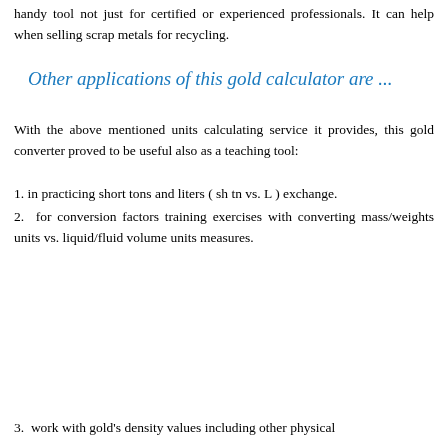handy tool not just for certified or experienced professionals. It can help when selling scrap metals for recycling.
Other applications of this gold calculator are ...
With the above mentioned units calculating service it provides, this gold converter proved to be useful also as a teaching tool:
1. in practicing short tons and liters ( sh tn vs. L ) exchange.
2.  for conversion factors training exercises with converting mass/weights units vs. liquid/fluid volume units measures.
3.  work with gold's density values including other physical